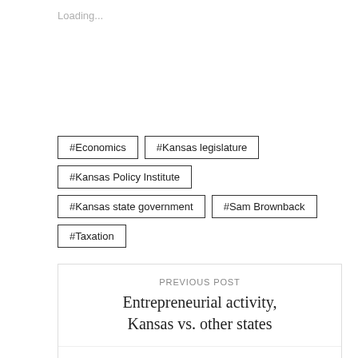Loading...
#Economics
#Kansas legislature
#Kansas Policy Institute
#Kansas state government
#Sam Brownback
#Taxation
PREVIOUS POST
Entrepreneurial activity, Kansas vs. other states
NEXT POST
Kansas needs to focus on growth when wrapping